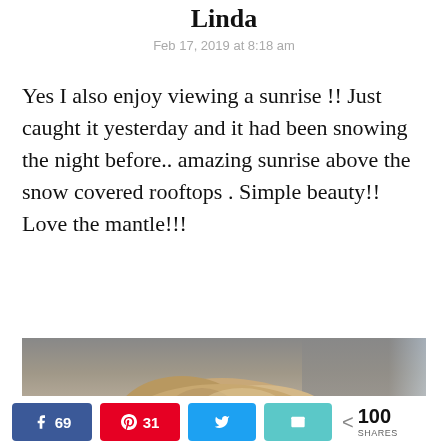Linda
Feb 17, 2019 at 8:18 am
Yes I also enjoy viewing a sunrise !! Just caught it yesterday and it had been snowing the night before.. amazing sunrise above the snow covered rooftops . Simple beauty!! Love the mantle!!!
[Figure (photo): Partial photo of a person with blonde hair, cropped at bottom of page]
69  31  100 SHARES